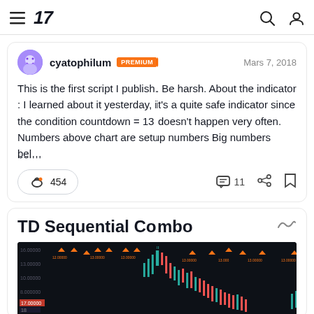TradingView navigation bar with logo, hamburger menu, search and account icons
cyatophilum PREMIUM Mars 7, 2018
This is the first script I publish. Be harsh. About the indicator : I learned about it yesterday, it's a quite safe indicator since the condition countdown = 13 doesn't happen very often. Numbers above chart are setup numbers Big numbers bel...
454  11
TD Sequential Combo
[Figure (screenshot): Dark background candlestick chart with orange downward triangles above price bars indicating TD Sequential signals, and green/red candlesticks showing price action]